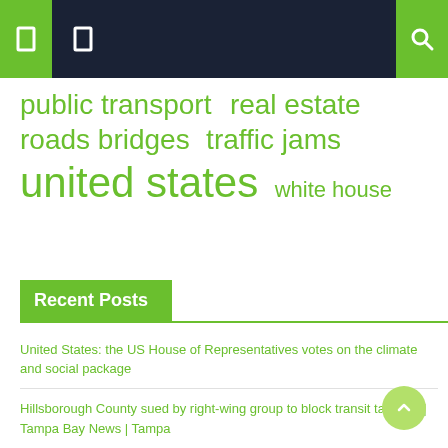Navigation header with hamburger menu icons and search icon
public transport  real estate
roads bridges  traffic jams
united states  white house
Recent Posts
United States: the US House of Representatives votes on the climate and social package
Hillsborough County sued by right-wing group to block transit tax vote | Tampa Bay News | Tampa
Valley race key to California Democrats' drive to keep majority at home – Reuters